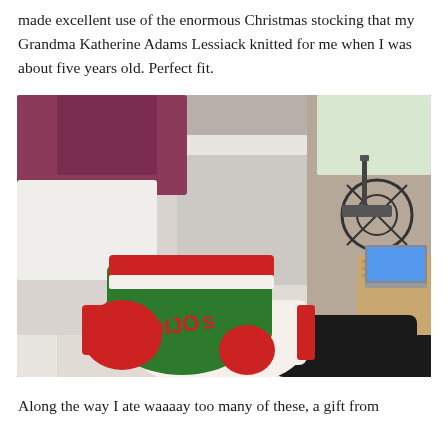made excellent use of the enormous Christmas stocking that my Grandma Katherine Adams Lessiack knitted for me when I was about five years old. Perfect fit.
[Figure (photo): A person wearing a large green, red, and white knitted Christmas stocking on their foot, resting on a white couch. A wheelchair and laptop are visible in the background.]
Along the way I ate waaaay too many of these, a gift from